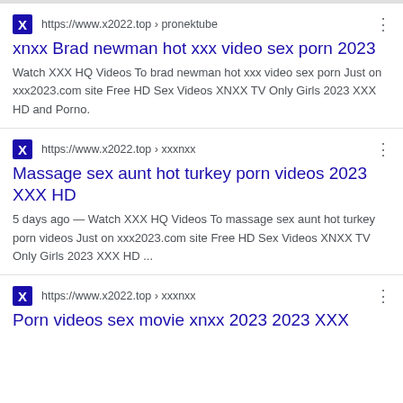https://www.x2022.top › pronektube
xnxx Brad newman hot xxx video sex porn 2023
Watch XXX HQ Videos To brad newman hot xxx video sex porn Just on xxx2023.com site Free HD Sex Videos XNXX TV Only Girls 2023 XXX HD and Porno.
https://www.x2022.top › xxxnxx
Massage sex aunt hot turkey porn videos 2023 XXX HD
5 days ago — Watch XXX HQ Videos To massage sex aunt hot turkey porn videos Just on xxx2023.com site Free HD Sex Videos XNXX TV Only Girls 2023 XXX HD ...
https://www.x2022.top › xxxnxx
Porn videos sex movie xnxx 2023 2023 XXX